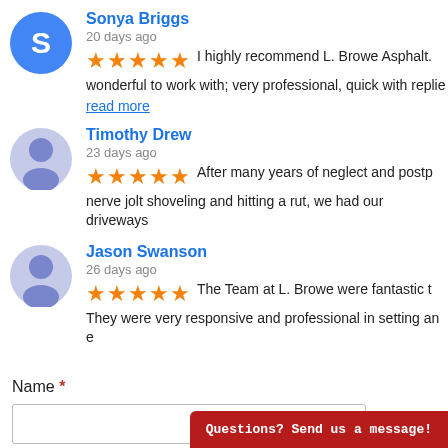Sonya Briggs
20 days ago
★★★★★ I highly recommend L. Browe Asphalt. wonderful to work with; very professional, quick with replie...
read more
Timothy Drew
23 days ago
★★★★★ After many years of neglect and postp... nerve jolt shoveling and hitting a rut, we had our driveways...
Jason Swanson
26 days ago
★★★★★ The Team at L. Browe were fantastic t... They were very responsive and professional in setting an e...
Name *
First
Questions? Send us a message!